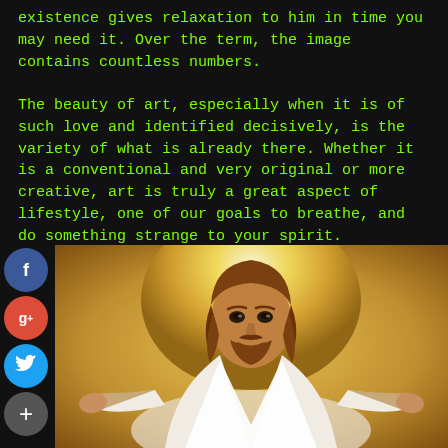existence gives relaxation to him in time you may need it. Over the term, the image contains countless numbers.

The beauty of art, especially when it is of such love and identified decisively, is the variety of what is already there. Whether it is a conventional and very original or more creative, art is truly a great aspect of lifestyle, one of our goals to breathe, and do something strange to your spirit.
[Figure (illustration): Religious painting of Jesus Christ in white robes with arms outstretched and a glowing golden halo/light behind him, looking forward toward the viewer.]